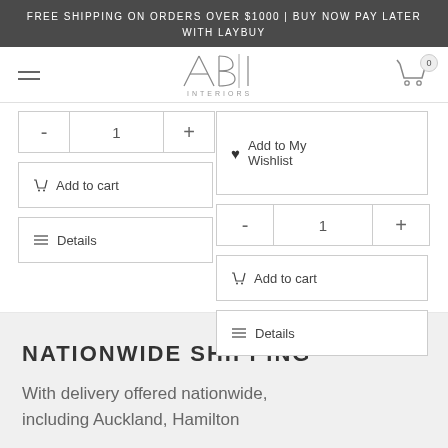FREE SHIPPING ON ORDERS OVER $1000 | BUY NOW PAY LATER WITH LAYBUY
[Figure (logo): ABI Interiors logo with stylized A, B, I letters and 'INTERIORS' text below]
- 1 + Add to cart Details
♥ Add to My Wishlist - 1 + Add to cart Details
NATIONWIDE SHIPPING
With delivery offered nationwide, including Auckland, Hamilton